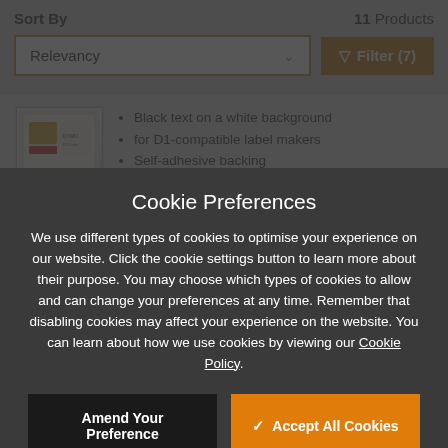Sort By  11 Products
Relevancy  ∨  Filter (7)
Black text on a white background
for D1-compatible label makers
Self-adhesive backing
Cookie Preferences
We use different types of cookies to optimise your experience on our website. Click the cookie settings button to learn more about their purpose. You may choose which types of cookies to allow and can change your preferences at any time. Remember that disabling cookies may affect your experience on the website. You can learn about how we use cookies by viewing our Cookie Policy.
Amend Your Preference
✓ Accept All Cookies